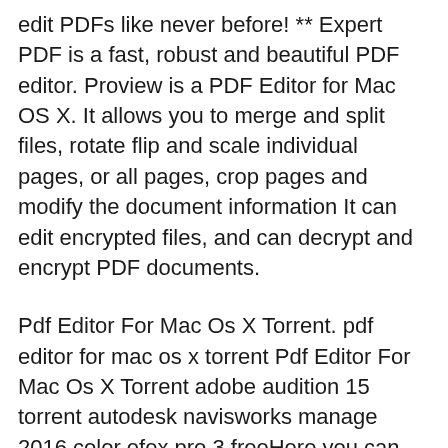edit PDFs like never before! ** Expert PDF is a fast, robust and beautiful PDF editor. Proview is a PDF Editor for Mac OS X. It allows you to merge and split files, rotate flip and scale individual pages, or all pages, crop pages and modify the document information It can edit encrypted files, and can decrypt and encrypt PDF documents.
Pdf Editor For Mac Os X Torrent. pdf editor for mac os x torrent Pdf Editor For Mac Os X Torrent adobe audition 15 torrent autodesk navisworks manage 2016 color efex pro 3 freeHere you can download iSkysoft PDF Editor Pro 6.3.3 Crack for Mac OS X Free Torrent. iSkysoft PDF Editor for Mac has